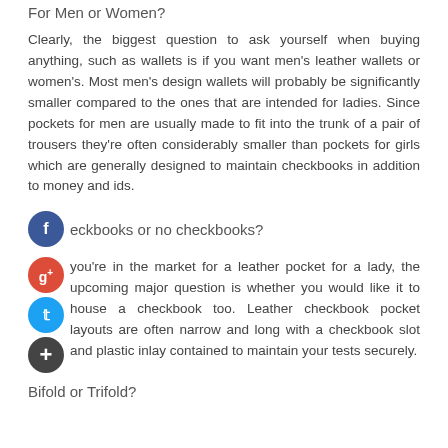For Men or Women?
Clearly, the biggest question to ask yourself when buying anything, such as wallets is if you want men's leather wallets or women's. Most men's design wallets will probably be significantly smaller compared to the ones that are intended for ladies. Since pockets for men are usually made to fit into the trunk of a pair of trousers they're often considerably smaller than pockets for girls which are generally designed to maintain checkbooks in addition to money and ids.
Checkbooks or no checkbooks?
If you're in the market for a leather pocket for a lady, the upcoming major question is whether you would like it to house a checkbook too. Leather checkbook pocket layouts are often narrow and long with a checkbook slot and plastic inlay contained to maintain your tests securely.
Bifold or Trifold?